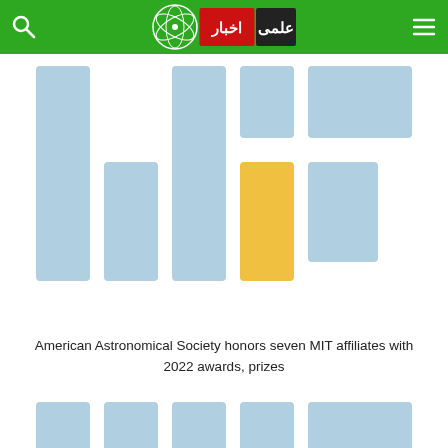اخبار علمی
[Figure (illustration): Skeleton loading placeholder card with blue and yellow rectangular blocks arranged in a grid pattern]
American Astronomical Society honors seven MIT affiliates with 2022 awards, prizes
[Figure (illustration): Skeleton loading placeholder card with blue and yellow rectangular blocks arranged in a grid pattern (partial, bottom)]